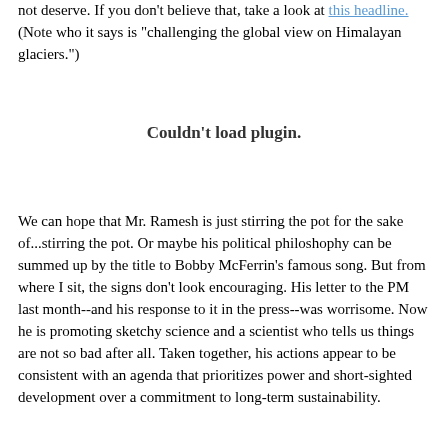not deserve.  If you don't believe that, take a look at this headline.  (Note who it says is "challenging the global view on Himalayan glaciers.")
[Figure (other): Embedded plugin area showing 'Couldn't load plugin.' message]
We can hope that Mr. Ramesh is just stirring the pot for the sake of...stirring the pot.  Or maybe his political philoshophy can be summed up by the title to Bobby McFerrin's famous song.  But from where I sit, the signs don't look encouraging. His letter to the PM last month--and his response to it in the press--was worrisome.  Now he is promoting sketchy science and a scientist who tells us things are not so bad after all.  Taken together, his actions appear to be consistent with an agenda that prioritizes power and short-sighted development over a commitment to long-term sustainability.